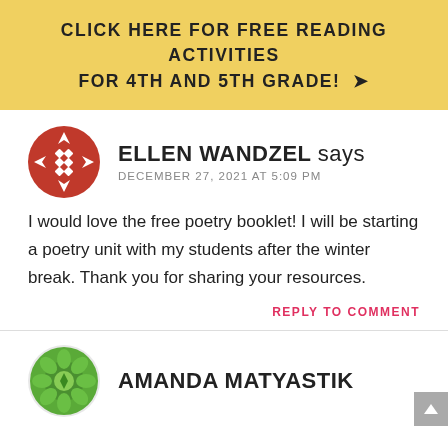CLICK HERE FOR FREE READING ACTIVITIES FOR 4TH AND 5TH GRADE! →
[Figure (logo): Red circular avatar with diamond/arrow pattern for Ellen Wandzel]
ELLEN WANDZEL says
DECEMBER 27, 2021 AT 5:09 PM
I would love the free poetry booklet! I will be starting a poetry unit with my students after the winter break. Thank you for sharing your resources.
REPLY TO COMMENT
[Figure (logo): Green circular avatar with geometric/flower pattern for Amanda Matyastik]
AMANDA MATYASTIK